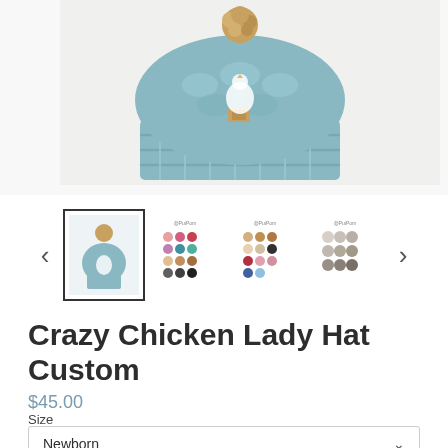[Figure (photo): Main product image showing a teal/blue chunky knit hat with a decorative pompom on top, viewed from above on a white background. A small brown label is visible.]
[Figure (photo): Thumbnail row with navigation arrows. First thumbnail is the selected hat photo with a border. Three additional thumbnails show color swatch sheets labeled with a social media handle.]
Crazy Chicken Lady Hat Custom
$45.00
Size
Newborn